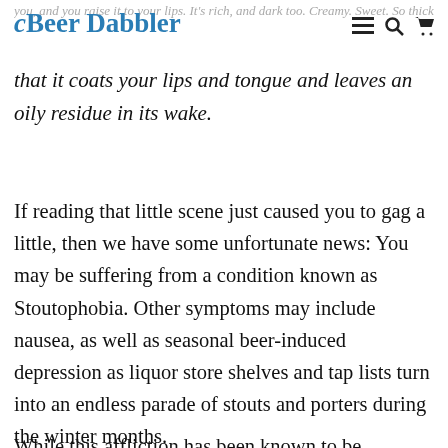Beer Dabbler
you, and you raise it to your lips. It's rich, and dark too. Creamy. Sweet. So thick and unctuous that it coats your lips and tongue and leaves an oily residue in its wake.
If reading that little scene just caused you to gag a little, then we have some unfortunate news: You may be suffering from a condition known as Stoutophobia. Other symptoms may include nausea, as well as seasonal beer-induced depression as liquor store shelves and tap lists turn into an endless parade of stouts and porters during the winter months.
While this affliction has been known to be